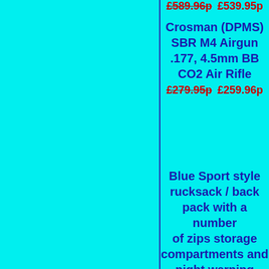£589.96p  £539.95p
Crosman (DPMS) SBR M4 Airgun .177, 4.5mm BB CO2 Air Rifle
£279.95p  £259.96p
Web Servi Re Battle Finish Pellet R 6 sho
£219.95
Blue Sport style rucksack / back pack with a number of zips storage compartments and night warning orange light